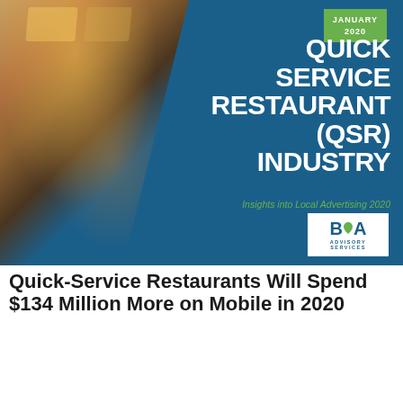[Figure (illustration): Cover page of BIA Advisory Services report on Quick Service Restaurant (QSR) Industry. Blue background with a blurred photo of a fast food restaurant interior on the left, diagonal split layout. Green badge in top right reads JANUARY 2020. Large white bold title reads QUICK SERVICE RESTAURANT (QSR) INDUSTRY. Green italic subtitle reads Insights into Local Advertising 2020. BIA Advisory Services logo in white box at bottom right.]
Quick-Service Restaurants Will Spend $134 Million More on Mobile in 2020